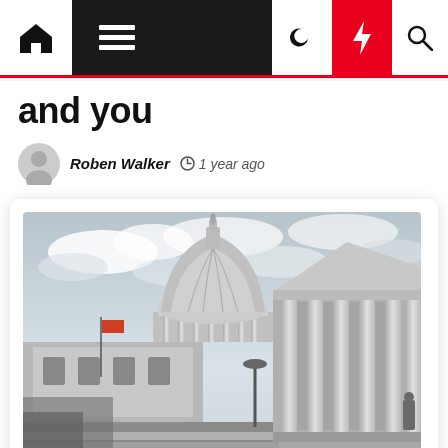Navigation bar with home, menu, dark mode, lightning, and search icons
and you
Roben Walker  1 year ago
[Figure (photo): Black and white photograph of the United States Capitol building dome and neoclassical columns, shot from a low angle against a cloudy sky, with an American flag visible on the left side.]